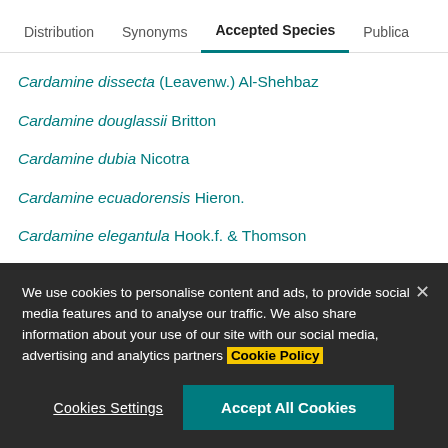Distribution | Synonyms | Accepted Species | Publica…
Cardamine dissecta (Leavenw.) Al-Shehbaz
Cardamine douglassii Britton
Cardamine dubia Nicotra
Cardamine ecuadorensis Hieron.
Cardamine elegantula Hook.f. & Thomson
Cardamine eminentia Heenan
Cardamine engleriana O.E.Schulz
We use cookies to personalise content and ads, to provide social media features and to analyse our traffic. We also share information about your use of our site with our social media, advertising and analytics partners Cookie Policy
Cookies Settings | Accept All Cookies